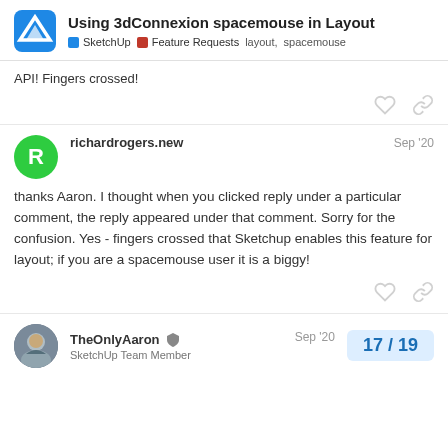Using 3dConnexion spacemouse in Layout | SketchUp | Feature Requests | layout, spacemouse
API! Fingers crossed!
richardrogers.new  Sep '20
thanks Aaron. I thought when you clicked reply under a particular comment, the reply appeared under that comment. Sorry for the confusion. Yes - fingers crossed that Sketchup enables this feature for layout; if you are a spacemouse user it is a biggy!
TheOnlyAaron  SketchUp Team Member  Sep '20  17 / 19